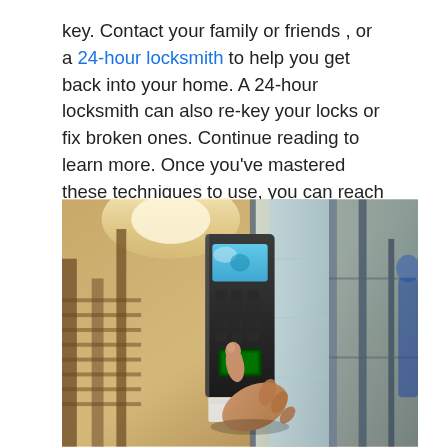key. Contact your family or friends , or a 24-hour locksmith to help you get back into your home. A 24-hour locksmith can also re-key your locks or fix broken ones. Continue reading to learn more. Once you've mastered these techniques to use, you can reach the locksmith 24 hours per day to get your home secure.
[Figure (photo): A hand pressing a finger onto a biometric fingerprint scanner/keypad mounted on a wall near a glass door entrance. The device has a blue LCD screen and a numeric keypad. The background shows a blurred indoor lobby with wooden beams and warm lighting.]